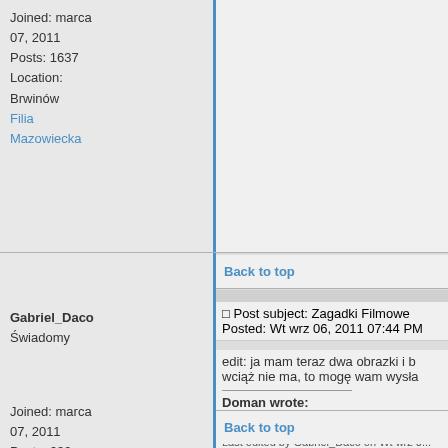Joined: marca 07, 2011
Posts: 1637
Location: Brwinów
Filia Mazowiecka
Back to top
Gabriel_Daco
Świadomy
Post subject: Zagadki Filmowe
Posted: Wt wrz 06, 2011 07:44 PM
edit: ja mam teraz dwa obrazki i b... wciąż nie ma, to mogę wam wysła...
Joined: marca 07, 2011
Posts: 639
Filia Pomorska
Doman wrote:
Malakid więcej argumentów bo S... kolacje :D
Last edited by Gabriel_Daco on Wt wrz 0... times in total
Back to top